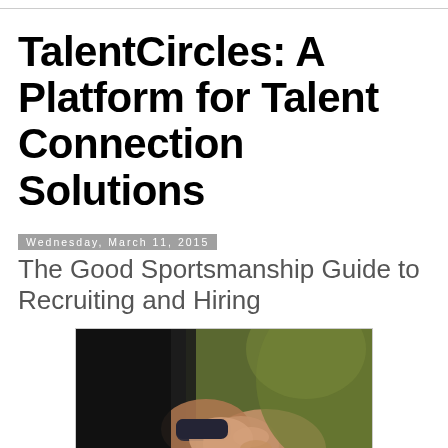TalentCircles: A Platform for Talent Connection Solutions
Wednesday, March 11, 2015
The Good Sportsmanship Guide to Recruiting and Hiring
[Figure (photo): Close-up photo of two people shaking hands, one wearing a dark wristband, with a blurred green outdoor background]